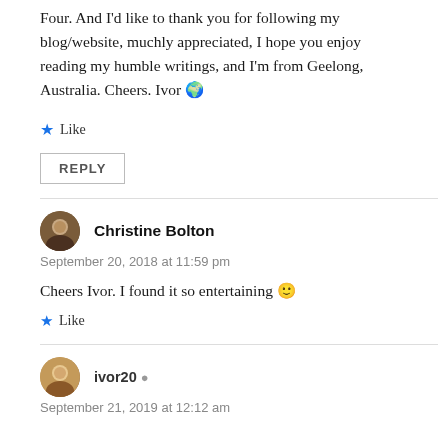Four. And I'd like to thank you for following my blog/website, muchly appreciated, I hope you enjoy reading my humble writings, and I'm from Geelong, Australia. Cheers. Ivor 🌍
Like
REPLY
Christine Bolton
September 20, 2018 at 11:59 pm
Cheers Ivor. I found it so entertaining 🙂
Like
ivor20
September 21, 2019 at 12:12 am